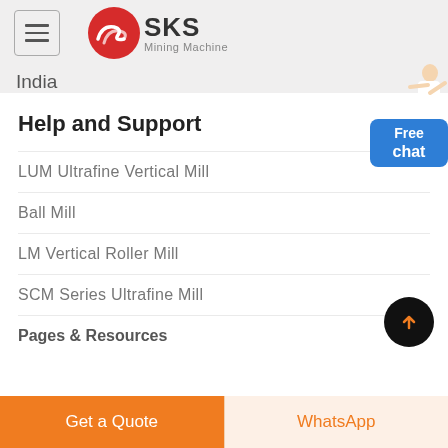[Figure (logo): SKS Mining Machine logo with red circular emblem and hamburger menu icon]
India
Help and Support
LUM Ultrafine Vertical Mill
Ball Mill
LM Vertical Roller Mill
SCM Series Ultrafine Mill
Pages & Resources
Get a Quote | WhatsApp